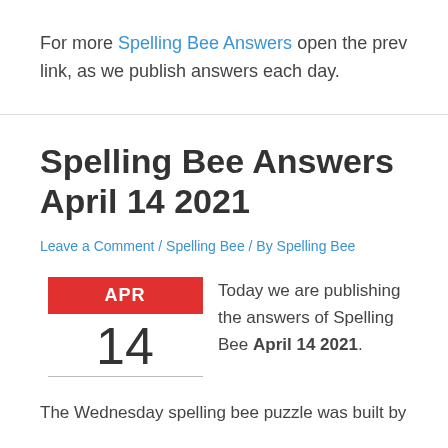For more Spelling Bee Answers open the prev link, as we publish answers each day.
Spelling Bee Answers April 14 2021
Leave a Comment / Spelling Bee / By Spelling Bee
Today we are publishing the answers of Spelling Bee April 14 2021.
The Wednesday spelling bee puzzle was built by